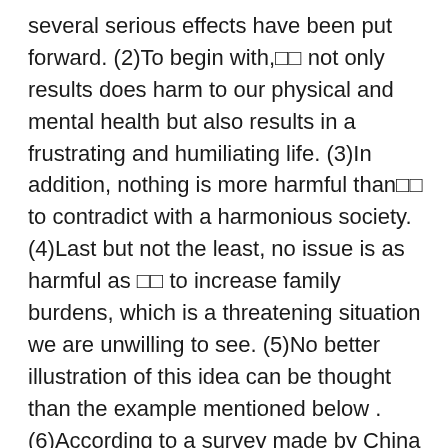several serious effects have been put forward. (2)To begin with,□□ not only results does harm to our physical and mental health but also results in a frustrating and humiliating life. (3)In addition, nothing is more harmful than□□ to contradict with a harmonious society. (4)Last but not the least, no issue is as harmful as □□ to increase family burdens, which is a threatening situation we are unwilling to see. (5)No better illustration of this idea can be thought than the example mentioned below . (6)According to a survey made by China Daily, 63.93% of young people who have ever experienced□□will live a dull life or even feel loss of hope about the future. (7)If we cannot take useful means, we may not control this trend, and some undesirable results may come out unexpectedly, we will see the gloomy future of something.